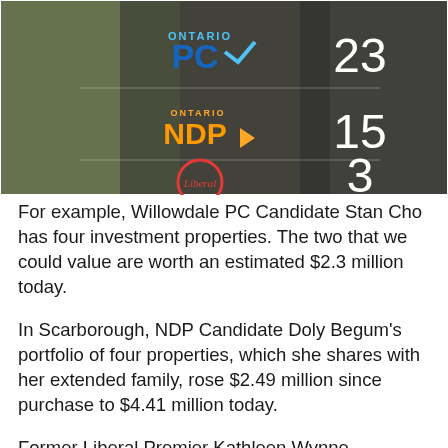[Figure (screenshot): Screenshot showing Ontario PC logo with number 23, Ontario NDP logo with number 15, and Liberal logo (red circle) with number 3, on a blurred outdoor background]
For example, Willowdale PC Candidate Stan Cho has four investment properties. The two that we could value are worth an estimated $2.3 million today.
In Scarborough, NDP Candidate Doly Begum's portfolio of four properties, which she shares with her extended family, rose $2.49 million since purchase to $4.41 million today.
Former Liberal Premier Kathleen Wynne